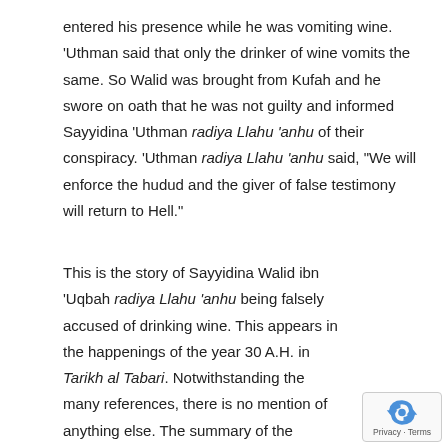entered his presence while he was vomiting wine. 'Uthman said that only the drinker of wine vomits the same. So Walid was brought from Kufah and he swore on oath that he was not guilty and informed Sayyidina 'Uthman radiya Llahu 'anhu of their conspiracy. 'Uthman radiya Llahu 'anhu said, "We will enforce the hudud and the giver of false testimony will return to Hell."
This is the story of Sayyidina Walid ibn 'Uqbah radiya Llahu 'anhu being falsely accused of drinking wine. This appears in the happenings of the year 30 A.H. in Tarikh al Tabari. Notwithstanding the many references, there is no mention of anything else. The summary of the incident in Tarikh al Tabari is that the witnesses against Walid were two of those who were denied blood revenge who harboured rancour and